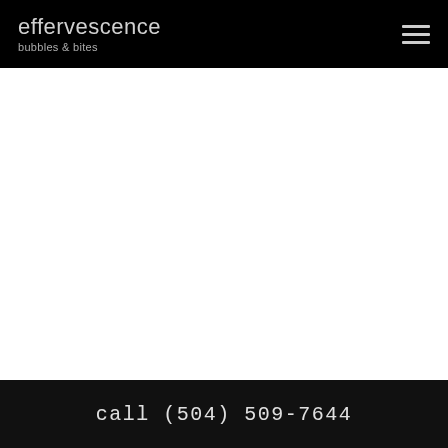effervescence bubbles & bites
call (504) 509-7644